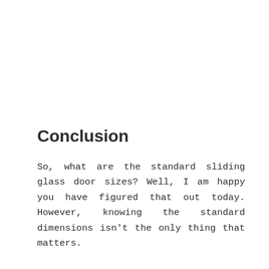Conclusion
So, what are the standard sliding glass door sizes? Well, I am happy you have figured that out today. However, knowing the standard dimensions isn't the only thing that matters.
There are diverse factors you need to consider to choose an ideal sliding glass